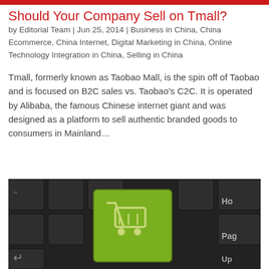Should Your Company Sell on Tmall?
by Editorial Team | Jun 25, 2014 | Business in China, China Ecommerce, China Internet, Digital Marketing in China, Online Technology Integration in China, Selling in China
Tmall, formerly known as Taobao Mall, is the spin off of Taobao and is focused on B2C sales vs. Taobao’s C2C. It is operated by Alibaba, the famous Chinese internet giant and was designed as a platform to sell authentic branded goods to consumers in Mainland…
[Figure (photo): Close-up photograph of a keyboard with a green key featuring a shopping cart icon, representing e-commerce.]